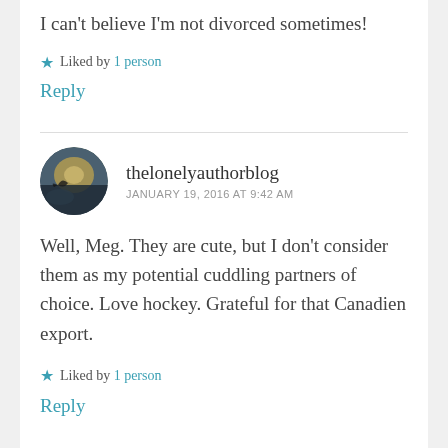I can't believe I'm not divorced sometimes!
★ Liked by 1 person
Reply
thelonelyauthorblog
JANUARY 19, 2016 AT 9:42 AM
Well, Meg. They are cute, but I don't consider them as my potential cuddling partners of choice. Love hockey. Grateful for that Canadien export.
★ Liked by 1 person
Reply